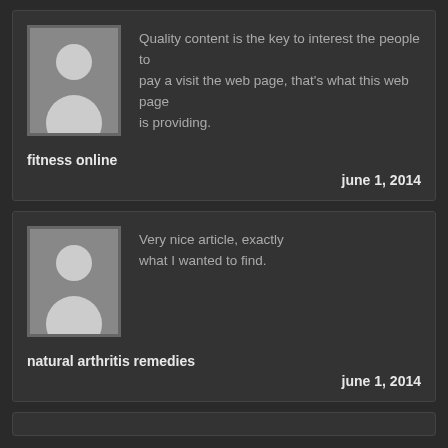Quality content is the key to interest the people to pay a visit the web page, that's what this web page is providing.
fitness online
june 1, 2014
Very nice article, exactly what I wanted to find.
natural arthritis remedies
june 1, 2014